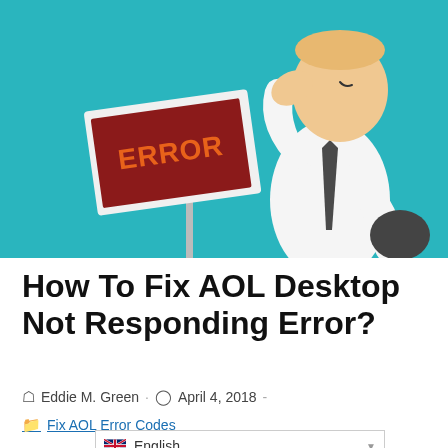[Figure (illustration): Cartoon illustration of a man in a white shirt and tie looking frustrated, standing next to a sign that reads 'ERROR' in orange letters on a dark red background, set against a teal background.]
How To Fix AOL Desktop Not Responding Error?
Eddie M. Green  ·  April 4, 2018  -
Fix AOL Error Codes
English